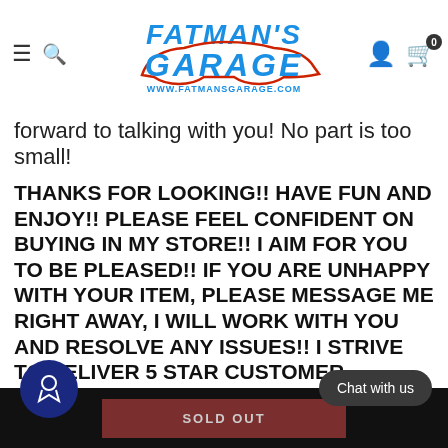Fatman's Garage - www.fatmansgarage.com
forward to talking with you! No part is too small!
THANKS FOR LOOKING!! HAVE FUN AND ENJOY!! PLEASE FEEL CONFIDENT ON BUYING IN MY STORE!! I AIM FOR YOU TO BE PLEASED!! IF YOU ARE UNHAPPY WITH YOUR ITEM, PLEASE MESSAGE ME RIGHT AWAY, I WILL WORK WITH YOU AND RESOLVE ANY ISSUES!! I STRIVE TO DELIVER 5 STAR CUSTOMER SERVICE! BUY MORE AND SAVE, WILL GLADLY COMBINE SHIPPING!! GOAL P... IS ALWAYS AVAILABLE... E IN
SOLD OUT